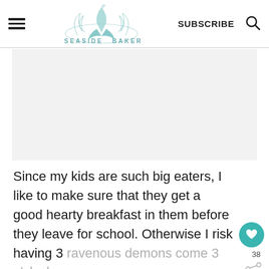SEASIDE BAKER — SUBSCRIBE
[Figure (logo): Seaside Baker logo with mermaid tail and feathers, teal/blue watercolor style]
[Figure (other): Gray blank advertisement placeholder area]
Since my kids are such big eaters, I like to make sure that they get a good hearty breakfast in them before they leave for school. Otherwise I risk having 3 ravenous demons come 3 o'clock.